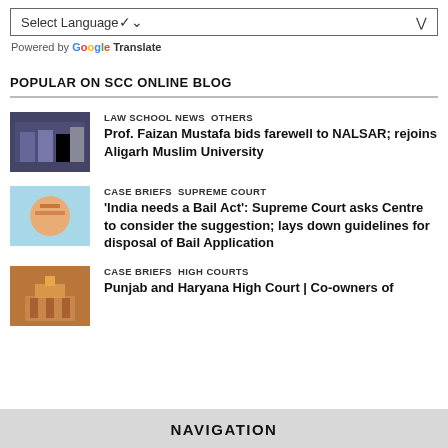Select Language (dropdown)
Powered by Google Translate
POPULAR ON SCC ONLINE BLOG
LAW SCHOOL NEWS  OTHERS
Prof. Faizan Mustafa bids farewell to NALSAR; rejoins Aligarh Muslim University
CASE BRIEFS  SUPREME COURT
'India needs a Bail Act': Supreme Court asks Centre to consider the suggestion; lays down guidelines for disposal of Bail Application
CASE BRIEFS  HIGH COURTS
Punjab and Haryana High Court | Co-owners of
NAVIGATION